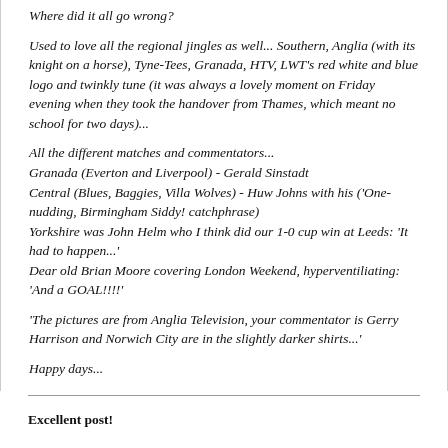Where did it all go wrong?
Used to love all the regional jingles as well... Southern, Anglia (with its knight on a horse), Tyne-Tees, Granada, HTV, LWT's red white and blue logo and twinkly tune (it was always a lovely moment on Friday evening when they took the handover from Thames, which meant no school for two days)...
All the different matches and commentators...
Granada (Everton and Liverpool) - Gerald Sinstadt
Central (Blues, Baggies, Villa Wolves) - Huw Johns with his ('One-nudding, Birmingham Siddy! catchphrase)
Yorkshire was John Helm who I think did our 1-0 cup win at Leeds: 'It had to happen...'
Dear old Brian Moore covering London Weekend, hyperventiliating: 'And a GOAL!!!!'
'The pictures are from Anglia Television, your commentator is Gerry Harrison and Norwich City are in the slightly darker shirts...'
Happy days...
Excellent post!
Martyn Tyler took over Yorkshire commentary about 1977, he was the voice of our 2-0 win at Sheffield United when we had to wear their yellow away kit...